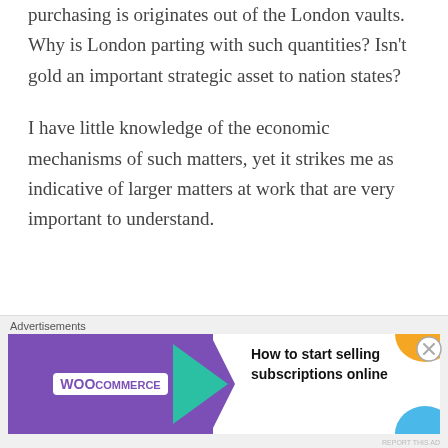purchasing is originates out of the London vaults. Why is London parting with such quantities? Isn't gold an important strategic asset to nation states?
I have little knowledge of the economic mechanisms of such matters, yet it strikes me as indicative of larger matters at work that are very important to understand.
[Figure (other): WooCommerce advertisement banner: 'How to start selling subscriptions online']